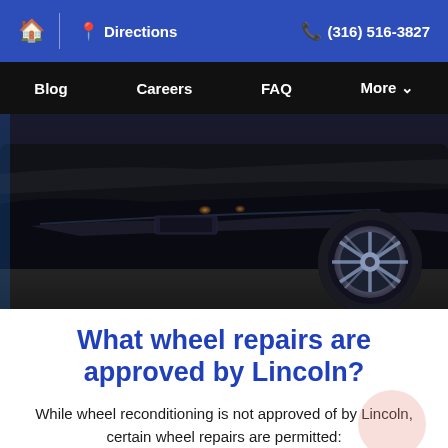🏠 | 📍 Directions  📞 (316) 516-3827
Blog  Careers  FAQ  More ∨
[Figure (photo): Close-up of the front bumper and wheel of a black luxury sedan at night, showing chrome wheel detail and amber parking lights.]
What wheel repairs are approved by Lincoln?
While wheel reconditioning is not approved of by Lincoln, certain wheel repairs are permitted: